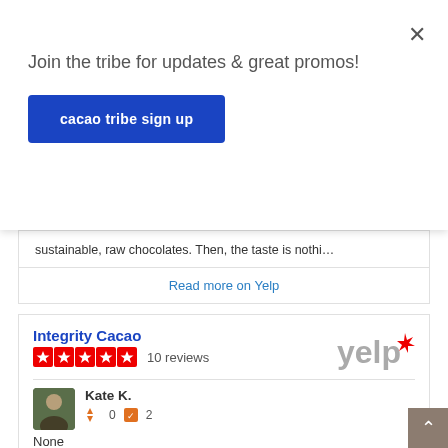Join the tribe for updates & great promos!
cacao tribe sign up
sustainable, raw chocolates. Then, the taste is nothi…
Read more on Yelp
Integrity Cacao
10 reviews
Kate K.
0   2
None
7/15/2018
OMG is this chocolate AMAZING! You can taste the love that's poured into crafting them, along with the highest quality